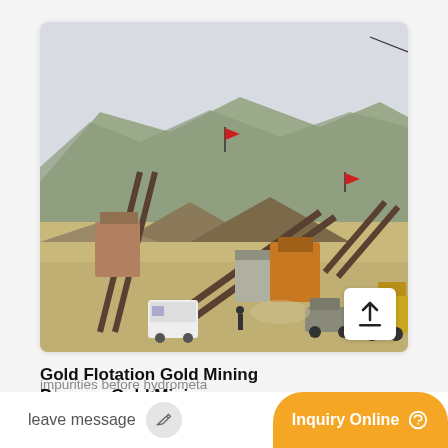[Figure (photo): Outdoor mining/flotation processing plant with conveyor belts, crushers, and heavy equipment against a rocky hillside background. Several vehicles and workers visible in foreground.]
Gold Flotation Gold Mining Process Gold Mining
impurities before hydrometa
leave message
Inquiry Online